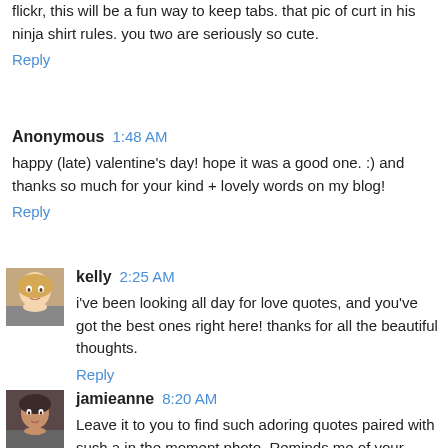flickr, this will be a fun way to keep tabs. that pic of curt in his ninja shirt rules. you two are seriously so cute.
Reply
Anonymous  1:48 AM
happy (late) valentine's day! hope it was a good one. :) and thanks so much for your kind + lovely words on my blog!
Reply
kelly  2:25 AM
i've been looking all day for love quotes, and you've got the best ones right here! thanks for all the beautiful thoughts.
Reply
jamieanne  8:20 AM
Leave it to you to find such adoring quotes paired with such a in the moment photo. Reminds me of your collage...